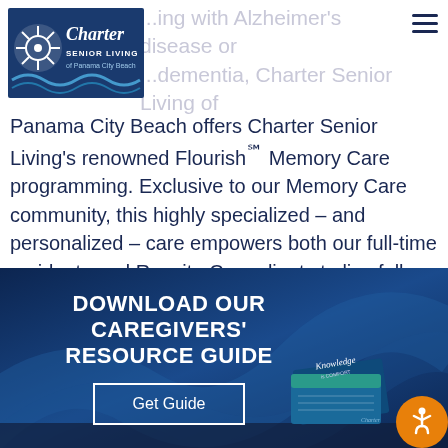[Figure (logo): Charter Senior Living of Panama City Beach logo with ship wheel icon]
...ing with Alzheimer's disease or ...dementia, Charter Senior Living of
Panama City Beach offers Charter Senior Living's renowned Flourish℠ Memory Care programming. Exclusive to our Memory Care community, this highly specialized – and personalized – care empowers both our full-time residents and Respite Care clients to live fully and with purpose while
[Figure (infographic): Download Our Caregivers' Resource Guide banner with dark blue background, Get Guide button, Knowledge is COMFORT brochure image, and accessibility icon]